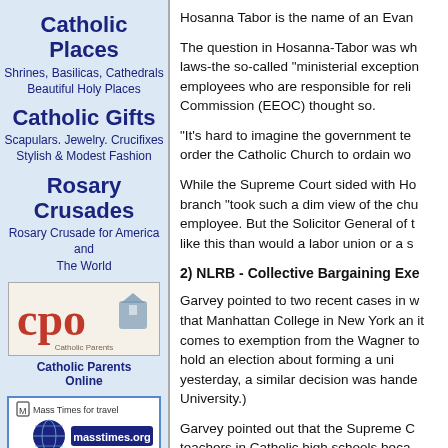Catholic Places
Shrines, Basilicas, Cathedrals
Beautiful Holy Places
Catholic Gifts
Scapulars. Jewelry. Crucifixes
Stylish & Modest Fashion
Rosary Crusades
Rosary Crusade for America and The World
[Figure (logo): CPO Catholic Parents Online logo]
Catholic Parents Online
[Figure (logo): masstimes.org logo - Mass Times for travel]
[Figure (logo): Faithful Citizenship logo with stars and cross]
Faithful Citizenship
Current News from:
Hosanna Tabor is the name of an Evan
The question in Hosanna-Tabor was wh laws-the so-called "ministerial exception employees who are responsible for reli Commission (EEOC) thought so.
"It's hard to imagine the government te order the Catholic Church to ordain wo
While the Supreme Court sided with Ho branch "took such a dim view of the ch employee. But the Solicitor General of like this than would a labor union or a s
2) NLRB - Collective Bargaining Exe
Garvey pointed to two recent cases in w that Manhattan College in New York an it comes to exemption from the Wagner to hold an election about forming a uni yesterday, a similar decision was hand University.)
Garvey pointed out that the Supreme C teachers in Catholic high schools beca
"Should we have a different rule for co very much like the EEOC's." The Boar